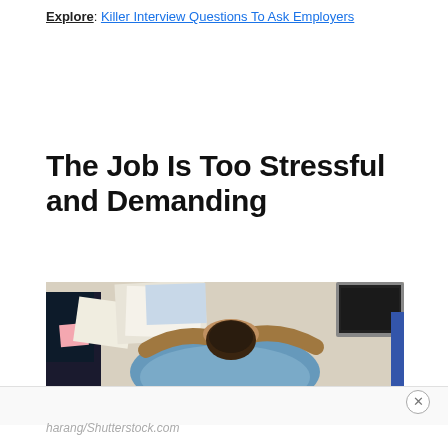Explore: Killer Interview Questions To Ask Employers
The Job Is Too Stressful and Demanding
[Figure (photo): Overhead view of a stressed man in a blue shirt resting his head face-down on a white desk with his hands clasped behind his head, surrounded by papers, sticky notes, folders, and a laptop keyboard visible in the top right corner.]
harang/Shutterstock.com